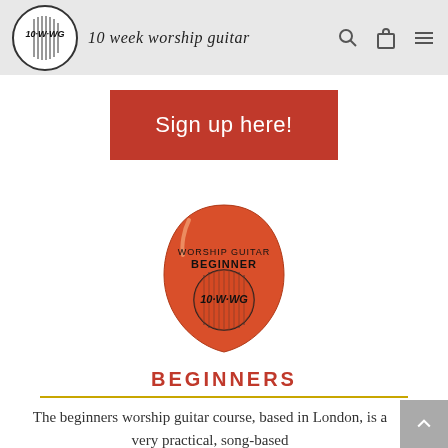10 week worship guitar
[Figure (other): Red call-to-action button with white text reading 'Sign up here!']
[Figure (illustration): Orange guitar pick with text 'WORSHIP GUITAR BEGINNER' and a circular logo reading '10 WWG' with vertical lines]
BEGINNERS
The beginners worship guitar course, based in London, is a very practical, song-based